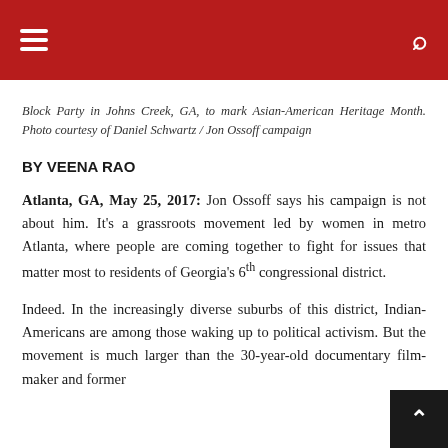Navigation header bar with hamburger menu and search icon
Block Party in Johns Creek, GA, to mark Asian-American Heritage Month. Photo courtesy of Daniel Schwartz / Jon Ossoff campaign
BY VEENA RAO
Atlanta, GA, May 25, 2017: Jon Ossoff says his campaign is not about him. It's a grassroots movement led by women in metro Atlanta, where people are coming together to fight for issues that matter most to residents of Georgia's 6th congressional district.
Indeed. In the increasingly diverse suburbs of this district, Indian-Americans are among those waking up to political activism. But the movement is much larger than the 30-year-old documentary film-maker and former